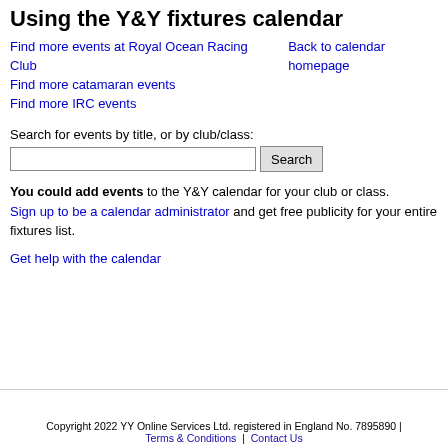Using the Y&Y fixtures calendar
Find more events at Royal Ocean Racing Club
Back to calendar homepage
Find more catamaran events
Find more IRC events
Search for events by title, or by club/class:
You could add events to the Y&Y calendar for your club or class. Sign up to be a calendar administrator and get free publicity for your entire fixtures list.
Get help with the calendar
Copyright 2022 YY Online Services Ltd. registered in England No. 7895890 | Terms & Conditions | Contact Us